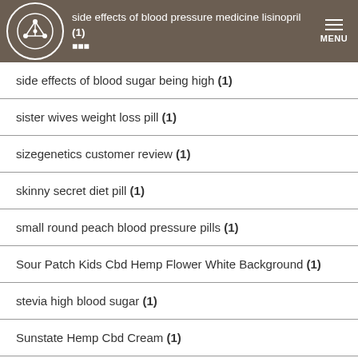side effects of blood pressure medicine lisinopril (1) 000
side effects of blood sugar being high (1)
sister wives weight loss pill (1)
sizegenetics customer review (1)
skinny secret diet pill (1)
small round peach blood pressure pills (1)
Sour Patch Kids Cbd Hemp Flower White Background (1)
stevia high blood sugar (1)
Sunstate Hemp Cbd Cream (1)
super hd weight loss pills results realty (1)
supplements that reduce blood sugar (1)